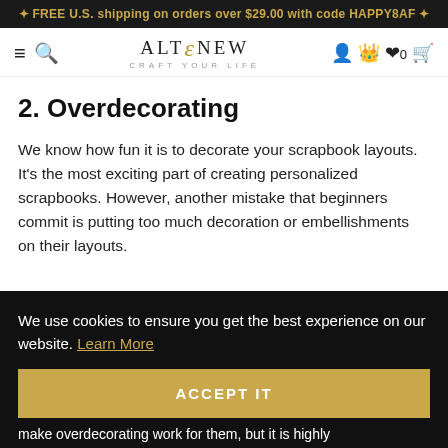✦ FREE U.S. shipping on orders over $29.00 with code HAPPY8AF ✦
[Figure (logo): Altenew logo with stylized ampersand and tagline CRAFT YOUR LIFE, with navigation icons]
2. Overdecorating
We know how fun it is to decorate your scrapbook layouts. It's the most exciting part of creating personalized scrapbooks. However, another mistake that beginners commit is putting too much decoration or embellishments on their layouts.
We use cookies to ensure you get the best experience on our website. Learn More
ACCEPT IT
make overdecorating work for them, but it is highly